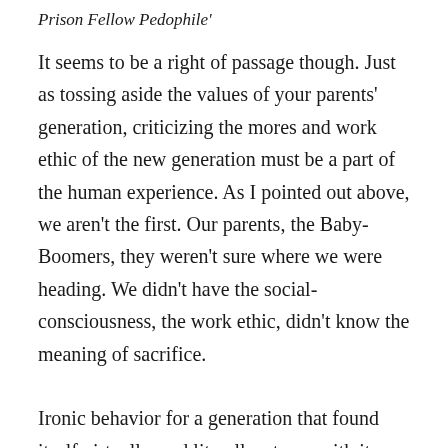Prison Fellow Pedophile'
It seems to be a right of passage though. Just as tossing aside the values of your parents' generation, criticizing the mores and work ethic of the new generation must be a part of the human experience. As I pointed out above, we aren't the first. Our parents, the Baby-Boomers, they weren't sure where we were heading. We didn't have the social-consciousness, the work ethic, didn't know the meaning of sacrifice.
Ironic behavior for a generation that found itself virtually, and literally, at war with its preceding generations. But they reached that age, that age when